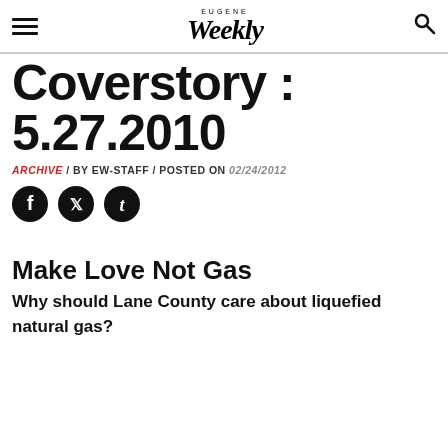EUGENE Weekly
Coverstory : 5.27.2010
ARCHIVE / BY EW-STAFF / POSTED ON 02/24/2012
[Figure (illustration): Social media sharing icons: Facebook, Twitter, Tumblr]
Make Love Not Gas
Why should Lane County care about liquefied natural gas?